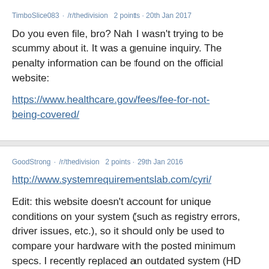TimboSlice083 · /r/thedivision  2 points · 20th Jan 2017
Do you even file, bro? Nah I wasn't trying to be scummy about it. It was a genuine inquiry. The penalty information can be found on the official website:
https://www.healthcare.gov/fees/fee-for-not-being-covered/
GoodStrong · /r/thedivision  2 points · 29th Jan 2016
http://www.systemrequirementslab.com/cyri/
Edit: this website doesn't account for unique conditions on your system (such as registry errors, driver issues, etc.), so it should only be used to compare your hardware with the posted minimum specs. I recently replaced an outdated system (HD 5770; i7-860) that was well below minimum specs